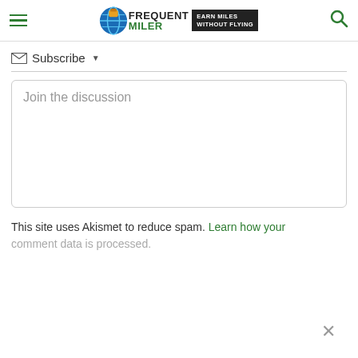Frequent Miler — Earn Miles Without Flying
Subscribe ▾
Join the discussion
This site uses Akismet to reduce spam. Learn how your comment data is processed.